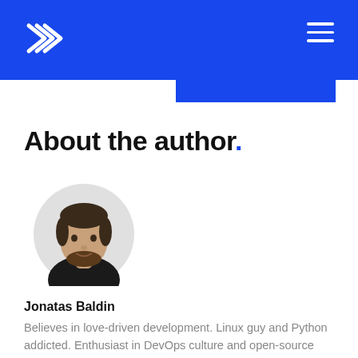About the author.
[Figure (photo): Circular headshot of Jonatas Baldin, a young man with dark hair and beard wearing a black shirt, shown against a white background.]
Jonatas Baldin
Believes in love-driven development. Linux guy and Python addicted. Enthusiast in DevOps culture and open-source projects.